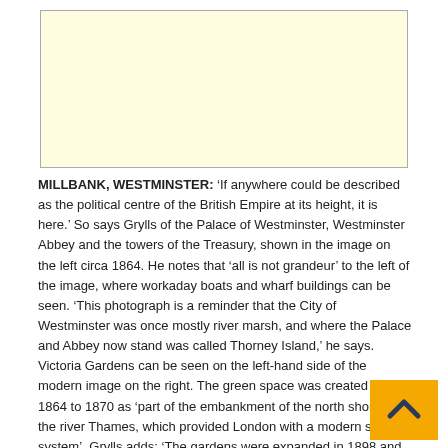[Figure (photo): Yellow/cream colored image placeholder rectangle representing a historical photograph of Millbank, Westminster circa 1864]
MILLBANK, WESTMINSTER: ‘If anywhere could be described as the political centre of the British Empire at its height, it is here.’ So says Grylls of the Palace of Westminster, Westminster Abbey and the towers of the Treasury, shown in the image on the left circa 1864. He notes that ‘all is not grandeur’ to the left of the image, where workaday boats and wharf buildings can be seen. ‘This photograph is a reminder that the City of Westminster was once mostly river marsh, and where the Palace and Abbey now stand was called Thorney Island,’ he says. Victoria Gardens can be seen on the left-hand side of the modern image on the right. The green space was created from 1864 to 1870 as ‘part of the embankment of the north shore of the river Thames, which provided London with a modern sewage system’. Grylls adds: ‘The gardens were expanded in 1898 and contain The Burghers of Calais [sculpture] by Auguste Rodin’